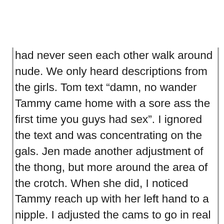had never seen each other walk around nude. We only heard descriptions from the girls. Tom text “damn, no wander Tammy came home with a sore ass the first time you guys had sex”. I ignored the text and was concentrating on the gals. Jen made another adjustment of the thong, but more around the area of the crotch. When she did, I noticed Tammy reach up with her left hand to a nipple. I adjusted the cams to go in real close. I didn’t want Tom to miss this. His text “much better”. However, I didn’t know which cam he meant. I was surprised that I wasn’t that uncomfortable knowing Tom was watching all of us. Jen said to Tammy “I think I now see the problem”. I think it is where it is covering your vulva.’ Tammy said ‘can you adjust it a bit?’ Jen put a finger under the elastic side and pulled the crotch over to cover more. She said “how is that?? Tammy said “better but needs a little more adjusting.” I am now making longer